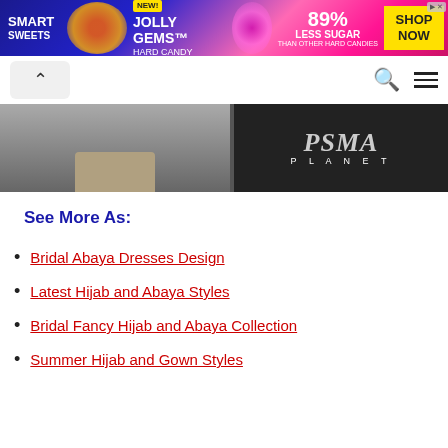[Figure (other): SmartSweets Jolly Gems Hard Candy advertisement banner. Blue and pink gradient background with candy graphics, '89% Less Sugar than other hard candies', and 'Shop Now' yellow button.]
[Figure (photo): Partial view of a photo showing feet/shoes on a paved surface (left) and a dark storefront sign reading 'PLANET' (right).]
See More As:
Bridal Abaya Dresses Design
Latest Hijab and Abaya Styles
Bridal Fancy Hijab and Abaya Collection
Summer Hijab and Gown Styles